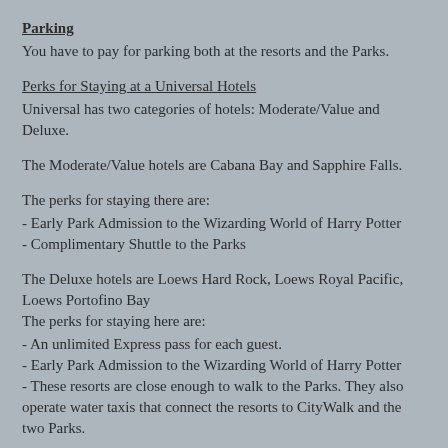Parking
You have to pay for parking both at the resorts and the Parks.
Perks for Staying at a Universal Hotels
Universal has two categories of hotels: Moderate/Value and Deluxe.
The Moderate/Value hotels are Cabana Bay and Sapphire Falls.
The perks for staying there are:
- Early Park Admission to the Wizarding World of Harry Potter
- Complimentary Shuttle to the Parks
The Deluxe hotels are Loews Hard Rock, Loews Royal Pacific, Loews Portofino Bay
The perks for staying here are:
- An unlimited Express pass for each guest.
- Early Park Admission to the Wizarding World of Harry Potter
- These resorts are close enough to walk to the Parks. They also operate water taxis that connect the resorts to CityWalk and the two Parks.